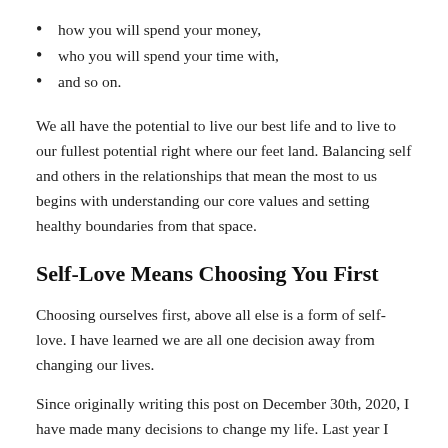how you will spend your money,
who you will spend your time with,
and so on.
We all have the potential to live our best life and to live to our fullest potential right where our feet land. Balancing self and others in the relationships that mean the most to us begins with understanding our core values and setting healthy boundaries from that space.
Self-Love Means Choosing You First
Choosing ourselves first, above all else is a form of self-love. I have learned we are all one decision away from changing our lives.
Since originally writing this post on December 30th, 2020, I have made many decisions to change my life. Last year I completed a Certificate in Project Management, completed a Master's of Education (Teaching Multilingual Learners), wrote a children's book,